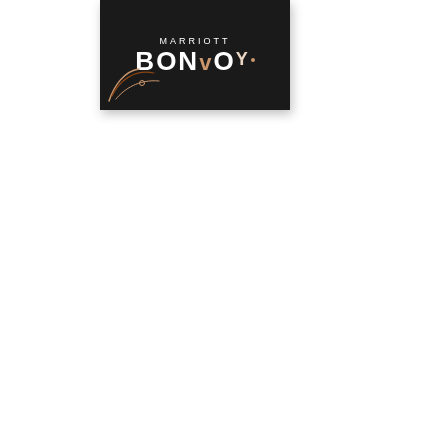[Figure (logo): Marriott Bonvoy logo on dark background with decorative swirl design]